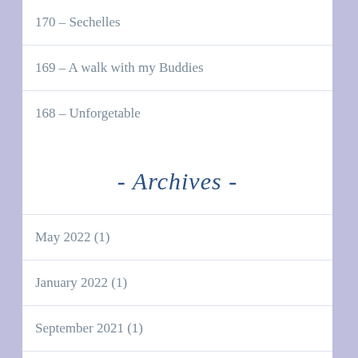170 – Sechelles
169 – A walk with my Buddies
168 – Unforgetable
- Archives -
May 2022 (1)
January 2022 (1)
September 2021 (1)
July 2021 (1)